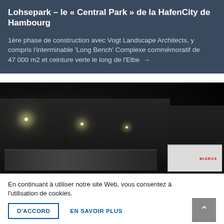Lohsepark – le « Central Park » de la HafenCity de Hambourg
1ère phase de construction avec Vogt Landscape Architects, y compris l'interminable 'Long Bench' Complexe commémoratif de 47 000 m2 et ceinture verte le long de l'Elbe →
[Figure (photo): Night photo of a large warehouse/logistics facility with trucks parked in front, including a white Migros truck on the right. Street lights illuminate the dark scene.]
En continuant à utiliser notre site Web, vous consentez à l'utilisation de cookies.
D'ACCORD    EN SAVOIR PLUS